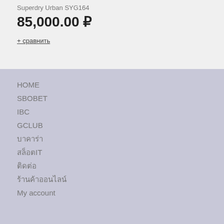Superdry Urban SYG164
85,000.00 ₽
+ сравнить
HOME
SBOBET
IBC
GCLUB
บาคาร่า
สล็อตIT
ติดต่อ
ร้านค้าออนไลน์
My account